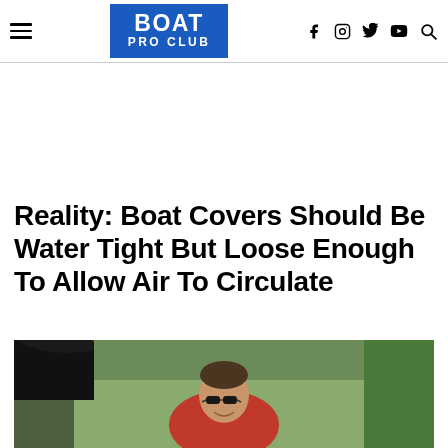BOAT PRO CLUB — navigation header with hamburger menu, logo, and social icons (f, Instagram, Twitter, YouTube, Search)
Reality: Boat Covers Should Be Water Tight But Loose Enough To Allow Air To Circulate
[Figure (photo): Man with sunglasses smiling, seated in a boat with a black cover/top visible, outdoors with green trees in background]